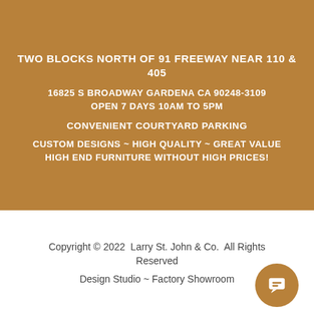TWO BLOCKS NORTH OF 91 FREEWAY NEAR 110 & 405
16825 S BROADWAY GARDENA CA 90248-3109
OPEN 7 DAYS 10AM TO 5PM
CONVENIENT COURTYARD PARKING
CUSTOM DESIGNS ~ HIGH QUALITY ~ GREAT VALUE
HIGH END FURNITURE WITHOUT HIGH PRICES!
Copyright © 2022  Larry St. John & Co.  All Rights Reserved
Design Studio ~ Factory Showroom
[Figure (illustration): Chat/message bubble icon button in brown circle, bottom right corner]